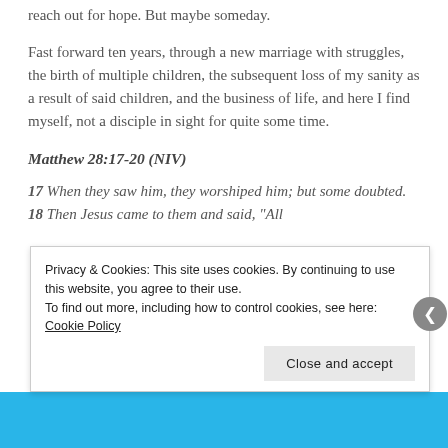reach out for hope. But maybe someday.
Fast forward ten years, through a new marriage with struggles, the birth of multiple children, the subsequent loss of my sanity as a result of said children, and the business of life, and here I find myself, not a disciple in sight for quite some time.
Matthew 28:17-20 (NIV)
17 When they saw him, they worshiped him; but some doubted. 18 Then Jesus came to them and said, "All
Privacy & Cookies: This site uses cookies. By continuing to use this website, you agree to their use.
To find out more, including how to control cookies, see here: Cookie Policy
Close and accept